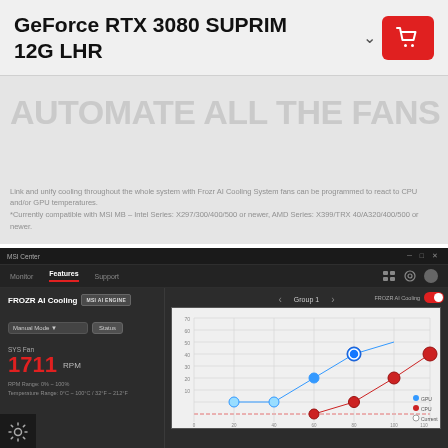GeForce RTX 3080 SUPRIM 12G LHR
[Figure (screenshot): MSI Center software screenshot showing FROZR AI Cooling fan control panel with a fan curve graph (Group 1), fan speed readout of 1711 RPM, and Manual Mode controls. The graph shows GPU and CPU temperature vs fan speed curves with colored dots.]
AUTOMATE ALL THE FANS
Link and unify cooling throughout the whole system with Frozr AI Cooling System fans can be programmed to react to CPU and/or GPU temperatures.
*Currently compatible with MSI MB – Intel Series: X297/300/400/500 or newer, AMD Series: X399/TRX 40/A320/400/500 or newer.